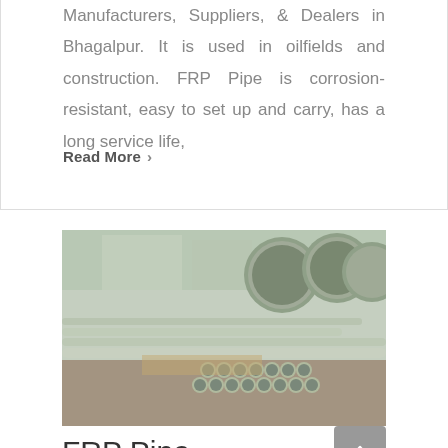Manufacturers, Suppliers, & Dealers in Bhagalpur. It is used in oilfields and construction. FRP Pipe is corrosion-resistant, easy to set up and carry, has a long service life,
Read More >
[Figure (photo): Photograph of FRP (Fiber Reinforced Plastic) pipes stacked horizontally outdoors, showing light green/grey cylindrical pipes bundled together with larger pipes visible in the background]
FRP Pipe Manufacturers in Kanpur